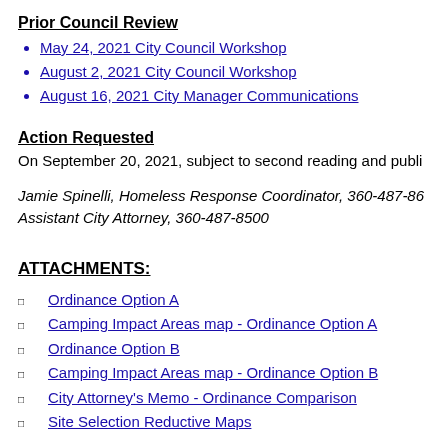Prior Council Review
May 24, 2021 City Council Workshop
August 2, 2021 City Council Workshop
August 16, 2021 City Manager Communications
Action Requested
On September 20, 2021, subject to second reading and publi…
Jamie Spinelli, Homeless Response Coordinator, 360-487-86… Assistant City Attorney, 360-487-8500
ATTACHMENTS:
Ordinance Option A
Camping Impact Areas map - Ordinance Option A
Ordinance Option B
Camping Impact Areas map - Ordinance Option B
City Attorney's Memo - Ordinance Comparison
Site Selection Reductive Maps